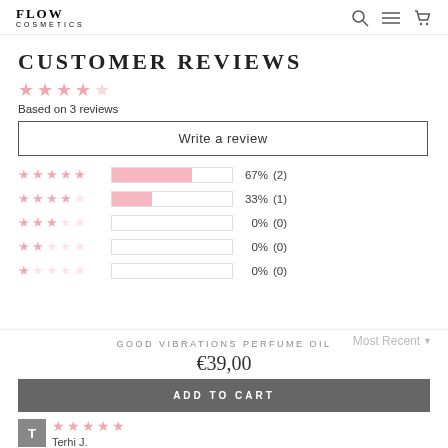FLOW COSMETICS
CUSTOMER REVIEWS
Based on 3 reviews
Write a review
| Stars | Bar | Percent | Count |
| --- | --- | --- | --- |
| 5 stars | 67% | 67% | (2) |
| 4 stars | 33% | 33% | (1) |
| 3 stars | 0% | 0% | (0) |
| 2 stars | 0% | 0% | (0) |
| 1 star | 0% | 0% | (0) |
GOOD VIBRATIONS PERFUME OIL
€39,00
Most Recent
ADD TO CART
Terhi J.